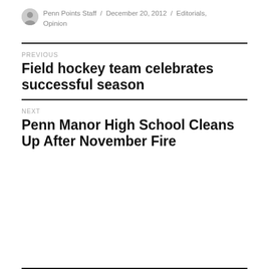Penn Points Staff / December 20, 2012 / Editorials, Opinion
PREVIOUS
Field hockey team celebrates successful season
NEXT
Penn Manor High School Cleans Up After November Fire